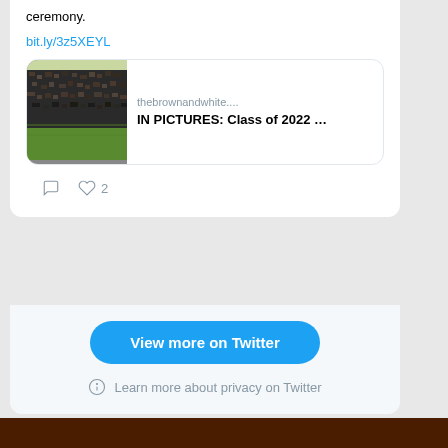ceremony.
bit.ly/3z5XEYL
[Figure (screenshot): Link preview card showing a crowd photo (graduation ceremony) with domain 'thebrownandwhite....' and title 'IN PICTURES: Class of 2022 ...']
♡ 2
View more on Twitter
Learn more about privacy on Twitter